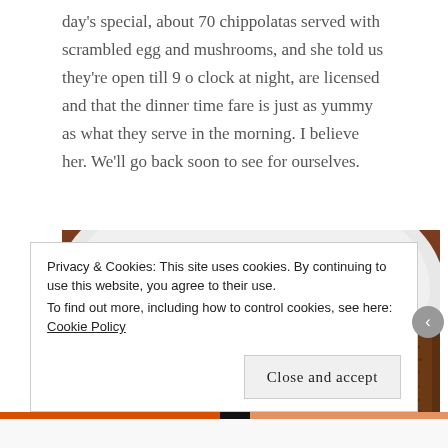day's special, about 70 chippolatas served with scrambled egg and mushrooms, and she told us they're open till 9 o clock at night, are licensed and that the dinner time fare is just as yummy as what they serve in the morning. I believe her. We'll go back soon to see for ourselves.
[Figure (photo): Close-up photo of a white plate with scrambled eggs and what appears to be a sausage or meat patty on a wooden surface]
Privacy & Cookies: This site uses cookies. By continuing to use this website, you agree to their use. To find out more, including how to control cookies, see here: Cookie Policy
Close and accept